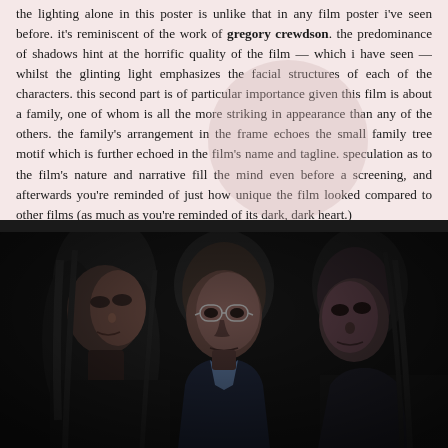the lighting alone in this poster is unlike that in any film poster i've seen before. it's reminiscent of the work of gregory crewdson. the predominance of shadows hint at the horrific quality of the film — which i have seen — whilst the glinting light emphasizes the facial structures of each of the characters. this second part is of particular importance given this film is about a family, one of whom is all the more striking in appearance than any of the others. the family's arrangement in the frame echoes the small family tree motif which is further echoed in the film's name and tagline. speculation as to the film's nature and narrative fill the mind even before a screening, and afterwards you're reminded of just how unique the film looked compared to other films (as much as you're reminded of its dark, dark heart.)
[Figure (photo): A dark, moody photograph showing three people — a woman with long hair on the left, a middle-aged man with glasses in the center, and a younger person on the right — lit dramatically against a very dark background, reminiscent of horror film poster art.]